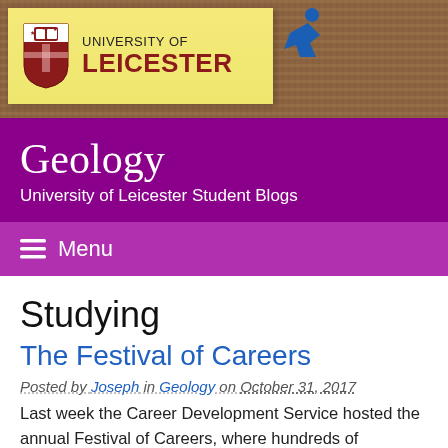University of Leicester
Geology
University of Leicester Student Blogs
Menu
Studying
The Festival of Careers
Posted by Joseph in Geology on October 31, 2017
Last week the Career Development Service hosted the annual Festival of Careers, where hundreds of employers come on to campus to speak to students about graduate jobs, placements and internships.  The main events were